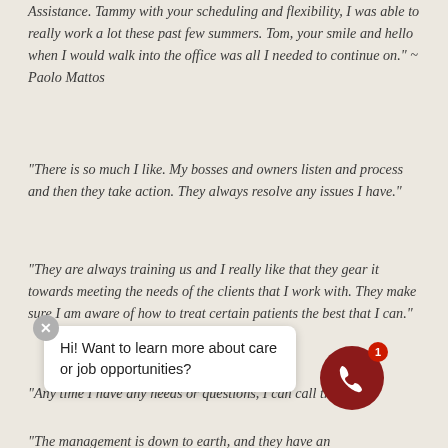Assistance. Tammy with your scheduling and flexibility, I was able to really work a lot these past few summers. Tom, your smile and hello when I would walk into the office was all I needed to continue on." ~ Paolo Mattos
“There is so much I like. My bosses and owners listen and process and then they take action. They always resolve any issues I have.”
“They are always training us and I really like that they gear it towards meeting the needs of the clients that I work with. They make sure I am aware of how to treat certain patients the best that I can.”
“Any time I have any needs or questions, I can call them an… this comp…
“The management is down to earth, and they have an
[Figure (other): Chat overlay widget with close button (X), text 'Hi! Want to learn more about care or job opportunities?', and a dark red phone icon button with badge showing '1']